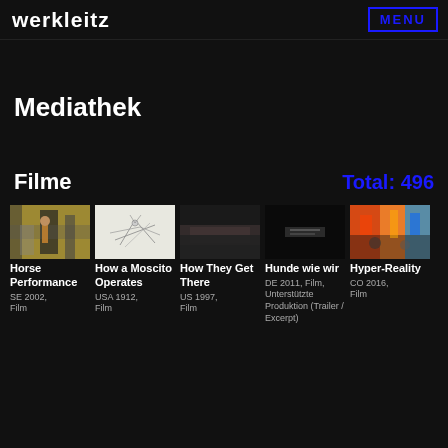werkleitz  MENU
Mediathek
Filme
Total: 496
[Figure (screenshot): Horse Performance thumbnail — hallway scene]
Horse Performance
SE 2002, Film
[Figure (screenshot): How a Moscito Operates thumbnail — sketch drawing]
How a Moscito Operates
USA 1912, Film
[Figure (screenshot): How They Get There thumbnail — dark scene]
How They Get There
US 1997, Film
[Figure (screenshot): Hunde wie wir thumbnail — black frame with text]
Hunde wie wir
DE 2011, Film, Unterstützte Produktion (Trailer / Excerpt)
[Figure (screenshot): Hyper-Reality thumbnail — colorful city scene]
Hyper-Reality
CO 2016, Film